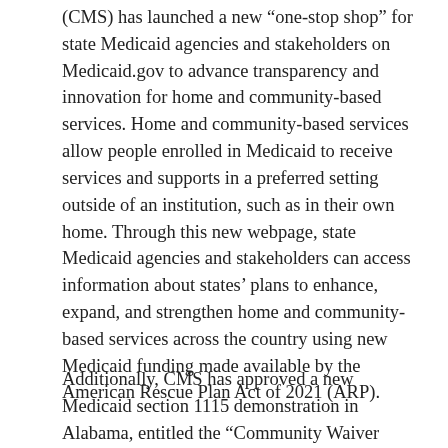(CMS) has launched a new “one-stop shop” for state Medicaid agencies and stakeholders on Medicaid.gov to advance transparency and innovation for home and community-based services. Home and community-based services allow people enrolled in Medicaid to receive services and supports in a preferred setting outside of an institution, such as in their own home. Through this new webpage, state Medicaid agencies and stakeholders can access information about states’ plans to enhance, expand, and strengthen home and community-based services across the country using new Medicaid funding made available by the American Rescue Plan Act of 2021 (ARP).
Additionally, CMS has approved a new Medicaid section 1115 demonstration in Alabama, entitled the “Community Waiver Program,” to